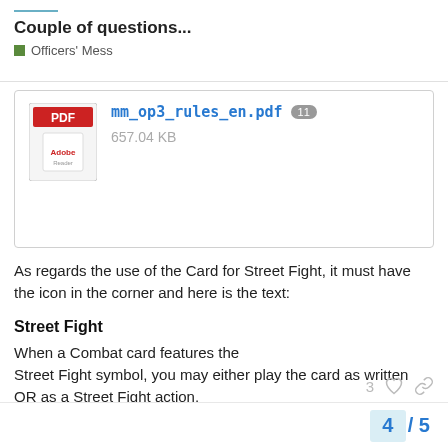Couple of questions... | Officers' Mess
[Figure (screenshot): PDF attachment thumbnail showing mm_op3_rules_en.pdf (11 downloads), 657.04 KB]
As regards the use of the Card for Street Fight, it must have the icon in the corner and here is the text:
Street Fight
When a Combat card features the Street Fight symbol, you may either play the card as written OR as a Street Fight action.
Street Fight action: One ordered unit in, or next to, a Building hex may Close Assault with 1 additional die.
4 / 5